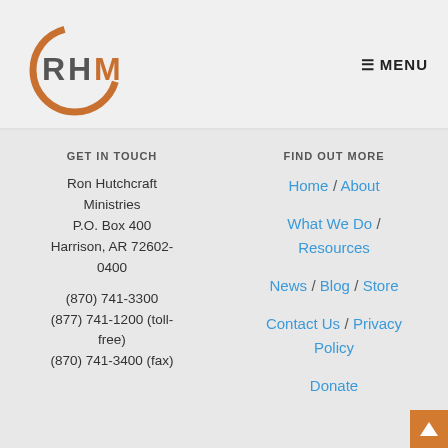[Figure (logo): RHM logo with orange circular arc and RHM text]
≡ MENU
GET IN TOUCH
Ron Hutchcraft Ministries
P.O. Box 400
Harrison, AR 72602-0400

(870) 741-3300
(877) 741-1200 (toll-free)
(870) 741-3400 (fax)
FIND OUT MORE
Home / About
What We Do / Resources
News / Blog / Store
Contact Us / Privacy Policy
Donate